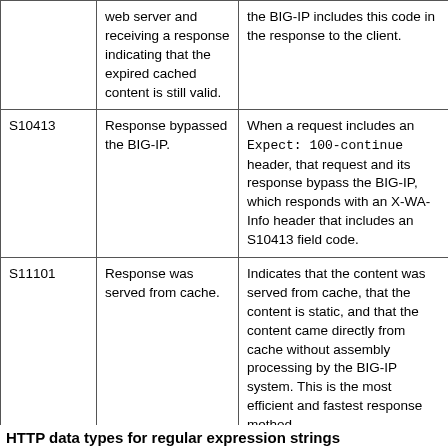| Code | Short description | Full description |
| --- | --- | --- |
| (cut off) | web server and receiving a response indicating that the expired cached content is still valid. | the BIG-IP includes this code in the response to the client. |
| S10413 | Response bypassed the BIG-IP. | When a request includes an Expect: 100-continue header, that request and its response bypass the BIG-IP, which responds with an X-WA-Info header that includes an S10413 field code. |
| S11101 | Response was served from cache. | Indicates that the content was served from cache, that the content is static, and that the content came directly from cache without assembly processing by the BIG-IP system. This is the most efficient and fastest response method. |
HTTP data types for regular expression strings